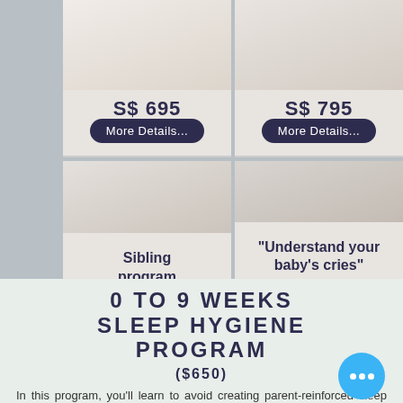[Figure (infographic): Top-left product card showing price S$ 695 with More Details button]
[Figure (infographic): Top-right product card showing price S$ 795 with More Details button]
[Figure (infographic): Bottom-left product card: Sibling program with More Details button]
[Figure (infographic): Bottom-right product card: Understand your baby's cries program, S$ 100 with More Details button]
0 TO 9 WEEKS SLEEP HYGIENE PROGRAM
($650)
In this program, you'll learn to avoid creating parent-reinforced sleep dependencies so that